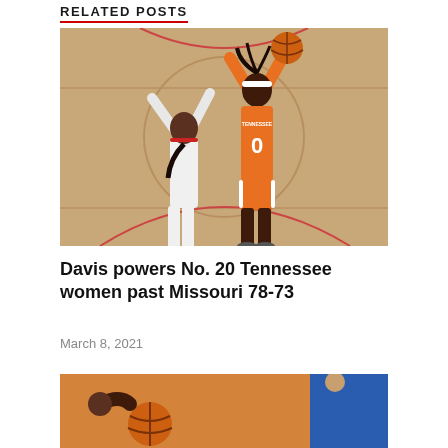RELATED POSTS
[Figure (photo): Women's basketball player in orange Tennessee #0 jersey shooting over a defender in white uniform on a basketball court]
Davis powers No. 20 Tennessee women past Missouri 78-73
March 8, 2021
[Figure (photo): Partial view of a women's basketball game action photo with orange and blue colors]